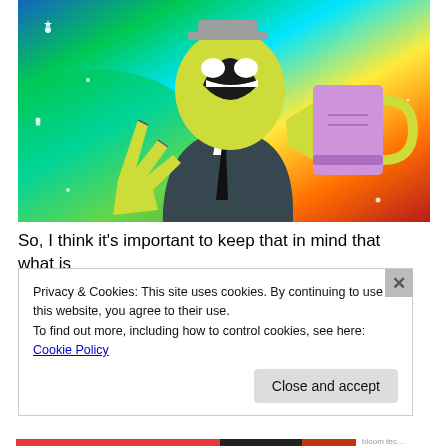[Figure (illustration): Cartoon character (Simpsons-style yellow figure) in a dark suit, laughing with mouth open wide, holding a pink/lavender mug, making a hand gesture. Background is a colorful rainbow gradient with sparkles/stars.]
So, I think it's important to keep that in mind that what is
Privacy & Cookies: This site uses cookies. By continuing to use this website, you agree to their use.
To find out more, including how to control cookies, see here: Cookie Policy
Close and accept